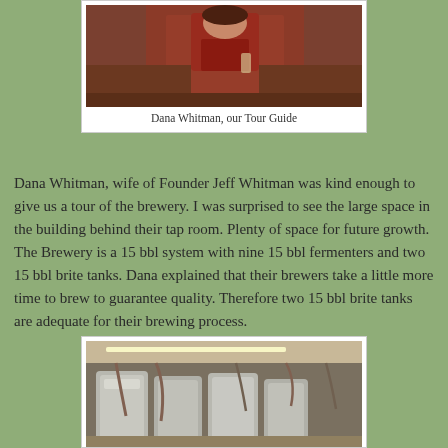[Figure (photo): Photo of Dana Whitman, a woman in a dark red shirt holding a glass, standing at a bar counter.]
Dana Whitman, our Tour Guide
Dana Whitman, wife of Founder Jeff Whitman was kind enough to give us a tour of the brewery.  I was surprised to see the large space in the building behind their tap room.  Plenty of space for future growth.  The Brewery is a 15 bbl system with nine 15 bbl fermenters and two 15 bbl brite tanks.  Dana explained that their brewers take a little more time to brew to guarantee quality.  Therefore two 15 bbl brite tanks are adequate for their brewing process.
[Figure (photo): Interior photo of a brewery showing large stainless steel fermentation tanks, hoses, and industrial ceiling with lighting.]